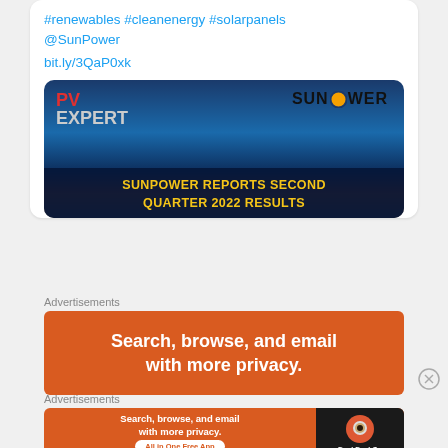#renewables #cleanenergy #solarpanels @SunPower
bit.ly/3QaP0xk
[Figure (screenshot): SunPower press release image with 'PV Expert' logo on left, SunPower logo on right, and headline 'SUNPOWER REPORTS SECOND QUARTER 2022 RESULTS' in yellow text on dark blue background over solar panel roof image]
Advertisements
[Figure (screenshot): DuckDuckGo advertisement banner: orange background with white text 'Search, browse, and email with more privacy.']
Advertisements
[Figure (screenshot): DuckDuckGo advertisement banner: orange background with white text 'Search, browse, and email with more privacy. All in One Free App' and DuckDuckGo logo on dark right panel]